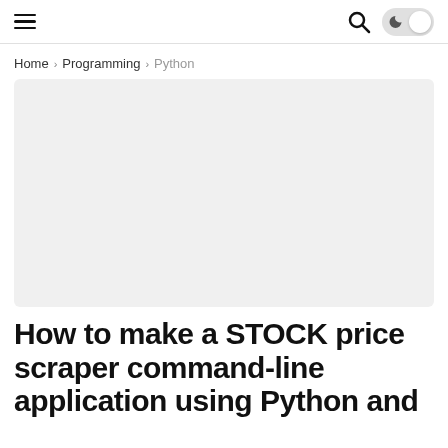Navigation bar with hamburger menu, search icon, and dark mode toggle
Home › Programming › Python
[Figure (other): Gray rectangular banner/advertisement placeholder image]
How to make a STOCK price scraper command-line application using Python and